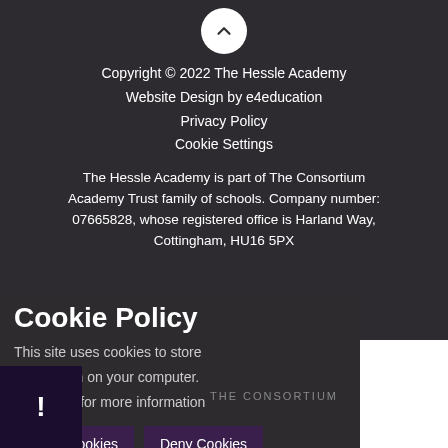[Figure (other): White circular back-to-top button with upward chevron arrow]
Copyright © 2022 The Hessle Academy
Website Design by e4education
Privacy Policy
Cookie Settings
The Hessle Academy is part of The Consortium Academy Trust family of schools. Company number: 07665828, whose registered office is Harland Way, Cottingham, HU16 5PX
Cookie Policy
This site uses cookies to store information on your computer. Click here for more information
Allow Cookies
Deny Cookies
THE CONSORTIUM
!